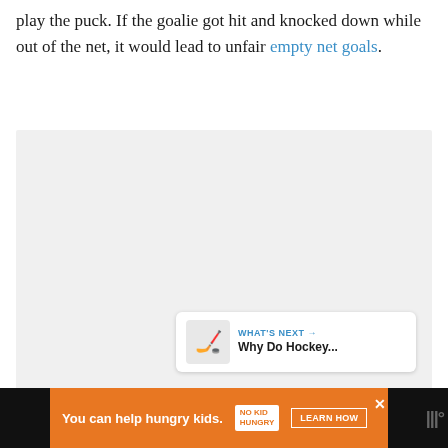play the puck. If the goalie got hit and knocked down while out of the net, it would lead to unfair empty net goals.
[Figure (other): Gray placeholder image area with dot navigation indicators, a heart/like button (blue circle, count 3), and a share button. A 'What's Next' card shows a hockey-related thumbnail and text 'Why Do Hockey...']